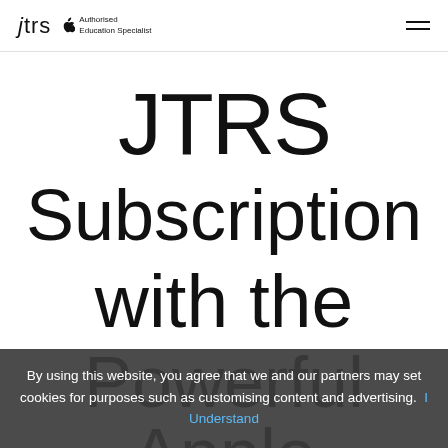jtrs  Apple Authorised Education Specialist
JTRS Subscription with the Powerful Apple
By using this website, you agree that we and our partners may set cookies for purposes such as customising content and advertising.  I Understand